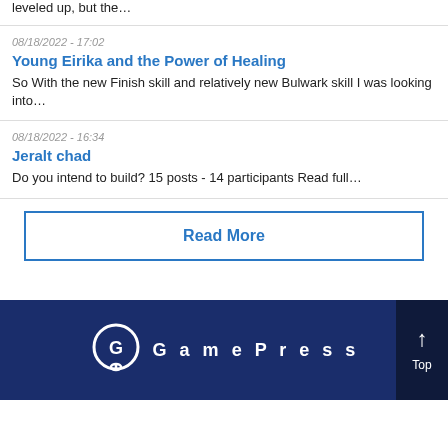leveled up, but the…
08/18/2022 - 17:02
Young Eirika and the Power of Healing
So With the new Finish skill and relatively new Bulwark skill I was looking into…
08/18/2022 - 16:34
Jeralt chad
Do you intend to build? 15 posts - 14 participants Read full…
Read More
[Figure (logo): GamePress logo with stylized GP icon and spaced letter text on dark navy background]
Menu | Top